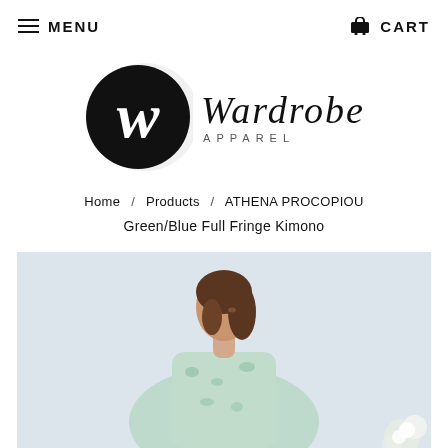MENU   CART
[Figure (logo): Wardrobe Apparel logo: black circle with stylized W, and italic 'Wardrobe' text with 'APPAREL' below]
Home / Products / ATHENA PROCOPIOU
Green/Blue Full Fringe Kimono
[Figure (photo): Young woman with brown hair wearing a green/blue floral fringe kimono, looking over her shoulder, light background with flowers visible at edge]